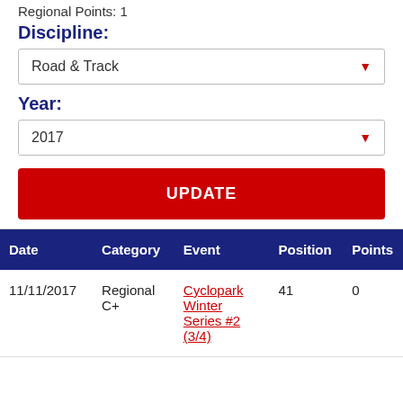Regional Points: 1
Discipline:
Road & Track
Year:
2017
UPDATE
| Date | Category | Event | Position | Points |
| --- | --- | --- | --- | --- |
| 11/11/2017 | Regional C+ | Cyclopark Winter Series #2 (3/4) | 41 | 0 |